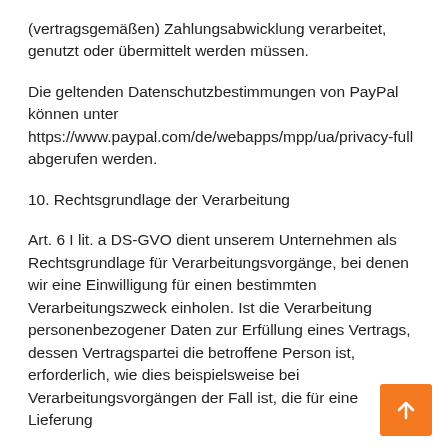(vertragsgemäßen) Zahlungsabwicklung verarbeitet, genutzt oder übermittelt werden müssen.
Die geltenden Datenschutzbestimmungen von PayPal können unter https://www.paypal.com/de/webapps/mpp/ua/privacy-full abgerufen werden.
10. Rechtsgrundlage der Verarbeitung
Art. 6 I lit. a DS-GVO dient unserem Unternehmen als Rechtsgrundlage für Verarbeitungsvorgänge, bei denen wir eine Einwilligung für einen bestimmten Verarbeitungszweck einholen. Ist die Verarbeitung personenbezogener Daten zur Erfüllung eines Vertrags, dessen Vertragspartei die betroffene Person ist, erforderlich, wie dies beispielsweise bei Verarbeitungsvorgängen der Fall ist, die für eine Lieferung